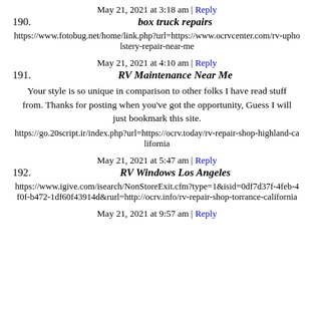May 21, 2021 at 3:18 am | Reply
190. box truck repairs
https://www.fotobug.net/home/link.php?url=https://www.ocrvcenter.com/rv-upholstery-repair-near-me
May 21, 2021 at 4:10 am | Reply
191. RV Maintenance Near Me
Your style is so unique in comparison to other folks I have read stuff from. Thanks for posting when you've got the opportunity, Guess I will just bookmark this site.
https://go.20script.ir/index.php?url=https://ocrv.today/rv-repair-shop-highland-california
May 21, 2021 at 5:47 am | Reply
192. RV Windows Los Angeles
https://www.igive.com/isearch/NonStoreExit.cfm?type=1&isid=0df7d37f-4feb-4f0f-b472-1df60f43914d&rurl=http://ocrv.info/rv-repair-shop-torrance-california
May 21, 2021 at 9:57 am | Reply